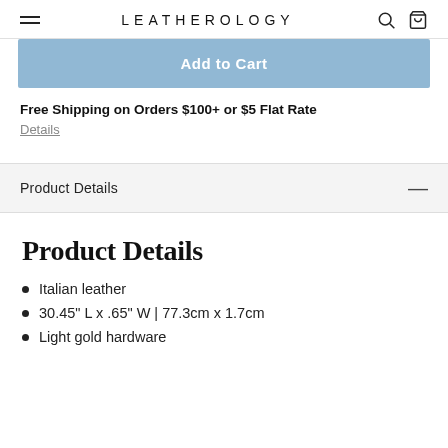LEATHEROLOGY
Add to Cart
Free Shipping on Orders $100+ or $5 Flat Rate
Details
Product Details
Product Details
Italian leather
30.45" L x .65" W | 77.3cm x 1.7cm
Light gold hardware